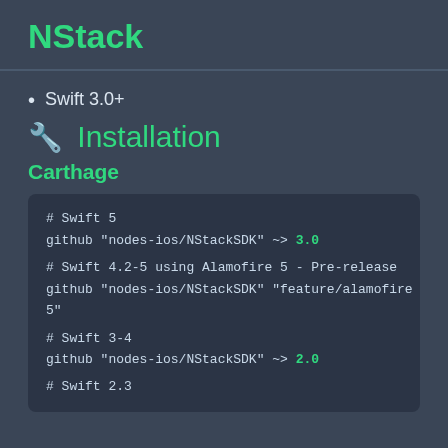NStack
Swift 3.0+
🔧 Installation
Carthage
# Swift 5
github "nodes-ios/NStackSDK" ~> 3.0

# Swift 4.2-5 using Alamofire 5 - Pre-release
github "nodes-ios/NStackSDK" "feature/alamofire 5"

# Swift 3-4
github "nodes-ios/NStackSDK" ~> 2.0

# Swift 2.3